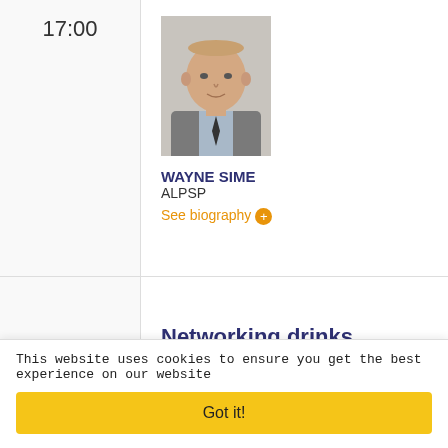17:00
[Figure (photo): Headshot of Wayne Sime, a bald man in a grey suit and blue shirt, against a light background]
WAYNE SIME
ALPSP
See biography
17:15
Networking drinks reception
18:00
Close of Conference
This website uses cookies to ensure you get the best experience on our website
Got it!